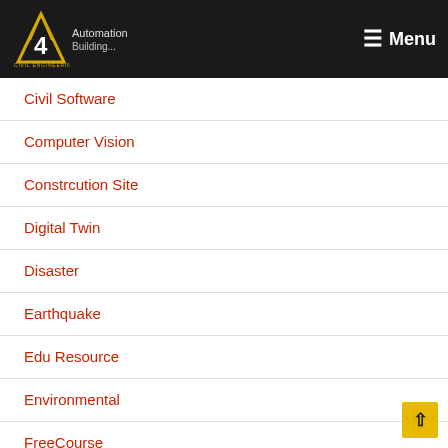4 Civil Engineering — Menu
Civil Software
Computer Vision
Constrcution Site
Digital Twin
Disaster
Earthquake
Edu Resource
Environmental
FreeCourse
Geotechnical Engineering